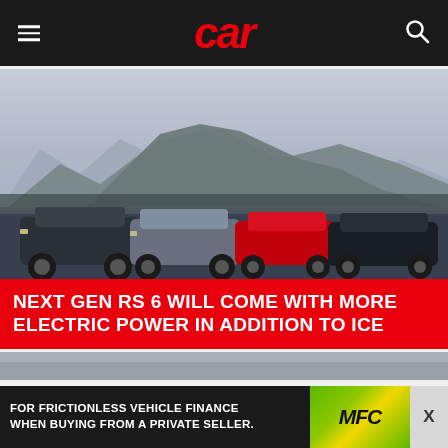car
[Figure (photo): Four Audi RS6 Avant wagons parked in a mountain setting with rocky peaks and cloudy sky in the background. Cars are dark gray, silver, red, and black in color.]
NEXT GEN RS 6 WILL COME WITH MORE ELECTRIC POWER IN ADDITION TO ICE
[Figure (photo): Partial view of a second article image, mostly gray/obscured.]
FOR FRICTIONLESS VEHICLE FINANCE WHEN BUYING FROM A PRIVATE SELLER.